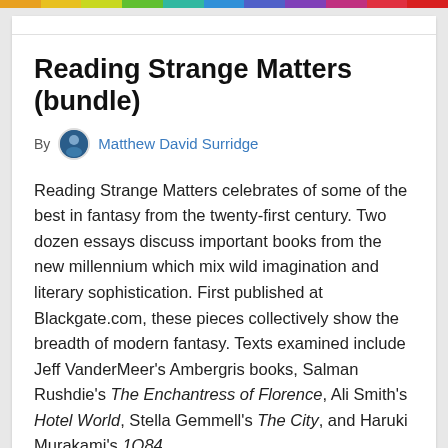Reading Strange Matters (bundle)
By Matthew David Surridge
Reading Strange Matters celebrates of some of the best in fantasy from the twenty-first century. Two dozen essays discuss important books from the new millennium which mix wild imagination and literary sophistication. First published at Blackgate.com, these pieces collectively show the breadth of modern fantasy. Texts examined include Jeff VanderMeer's Ambergris books, Salman Rushdie's The Enchantress of Florence, Ali Smith's Hotel World, Stella Gemmell's The City, and Haruki Murakami's 1Q84.